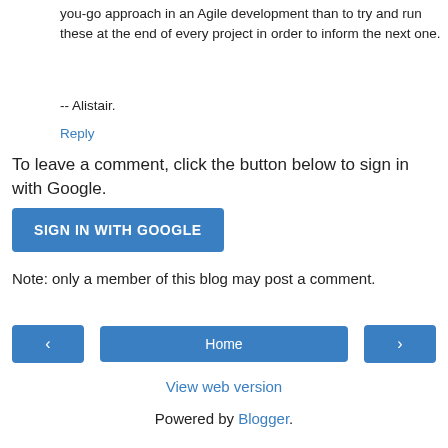you-go approach in an Agile development than to try and run these at the end of every project in order to inform the next one.
-- Alistair.
Reply
To leave a comment, click the button below to sign in with Google.
[Figure (other): SIGN IN WITH GOOGLE button (blue rounded rectangle)]
Note: only a member of this blog may post a comment.
[Figure (other): Navigation row with left arrow button, Home button, and right arrow button]
View web version
Powered by Blogger.